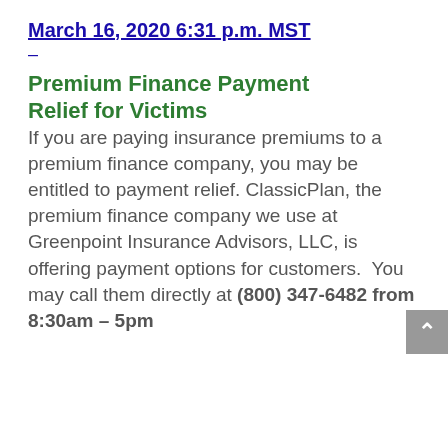March 16, 2020 6:31 p.m. MST
–
Premium Finance Payment Relief for Victims
If you are paying insurance premiums to a premium finance company, you may be entitled to payment relief. ClassicPlan, the premium finance company we use at Greenpoint Insurance Advisors, LLC, is offering payment options for customers.  You may call them directly at (800) 347-6482 from 8:30am – 5pm